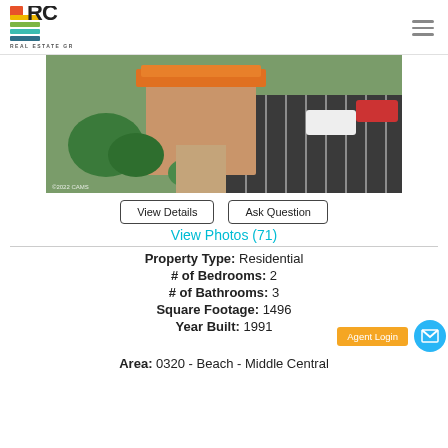[Figure (logo): RC Real Estate Group logo with colored bars and RC initials]
[Figure (photo): Aerial photo of a residential property with orange tile roof, green landscaping, and parking lot]
View Details
Ask Question
View Photos (71)
Property Type: Residential
# of Bedrooms: 2
# of Bathrooms: 3
Square Footage: 1496
Year Built: 1991
Area: 0320 - Beach - Middle Central